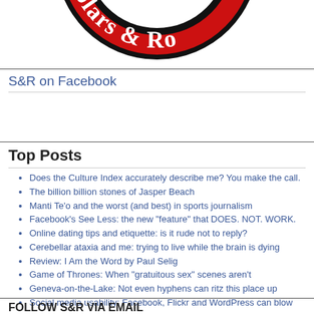[Figure (logo): Partial circular logo with red background and white Old English text reading 'Scholars & Rogues']
S&R on Facebook
Top Posts
Does the Culture Index accurately describe me? You make the call.
The billion billion stones of Jasper Beach
Manti Te'o and the worst (and best) in sports journalism
Facebook's See Less: the new "feature" that DOES. NOT. WORK.
Online dating tips and etiquette: is it rude not to reply?
Cerebellar ataxia and me: trying to live while the brain is dying
Review: I Am the Word by Paul Selig
Game of Thrones: When "gratuitous sex" scenes aren't
Geneva-on-the-Lake: Not even hyphens can ritz this place up
Social media usability: Facebook, Flickr and WordPress can blow me
FOLLOW S&R VIA EMAIL